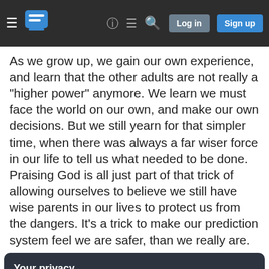Stack Exchange navigation bar with hamburger menu, logo, help, chat, search, Log in, Sign up buttons
As we grow up, we gain our own experience, and learn that the other adults are not really a "higher power" anymore. We learn we must face the world on our own, and make our own decisions. But we still yearn for that simpler time, when there was always a far wiser force in our life to tell us what needed to be done. Praising God is all just part of that trick of allowing ourselves to believe we still have wise parents in our lives to protect us from the dangers. It's a trick to make our prediction system feel we are safer, than we really are.
Your privacy
By clicking "Accept all cookies", you agree Stack Exchange can store cookies on your device and disclose information in accordance with our Cookie Policy.
Accept all cookies
Customize settings
ages. So when a religion says you should not kill